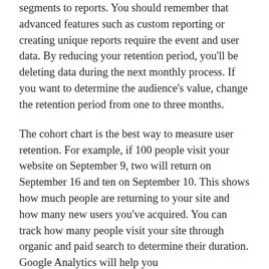segments to reports. You should remember that advanced features such as custom reporting or creating unique reports require the event and user data. By reducing your retention period, you'll be deleting data during the next monthly process. If you want to determine the audience's value, change the retention period from one to three months.
The cohort chart is the best way to measure user retention. For example, if 100 people visit your website on September 9, two will return on September 16 and ten on September 10. This shows how much people are returning to your site and how many new users you've acquired. You can track how many people visit your site through organic and paid search to determine their duration. Google Analytics will help you